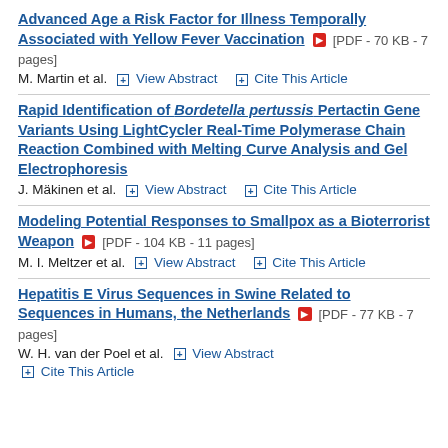Advanced Age a Risk Factor for Illness Temporally Associated with Yellow Fever Vaccination [PDF - 70 KB - 7 pages]
M. Martin et al. View Abstract Cite This Article
Rapid Identification of Bordetella pertussis Pertactin Gene Variants Using LightCycler Real-Time Polymerase Chain Reaction Combined with Melting Curve Analysis and Gel Electrophoresis
J. Mäkinen et al. View Abstract Cite This Article
Modeling Potential Responses to Smallpox as a Bioterrorist Weapon [PDF - 104 KB - 11 pages]
M. I. Meltzer et al. View Abstract Cite This Article
Hepatitis E Virus Sequences in Swine Related to Sequences in Humans, the Netherlands [PDF - 77 KB - 7 pages]
W. H. van der Poel et al. View Abstract
Cite This Article